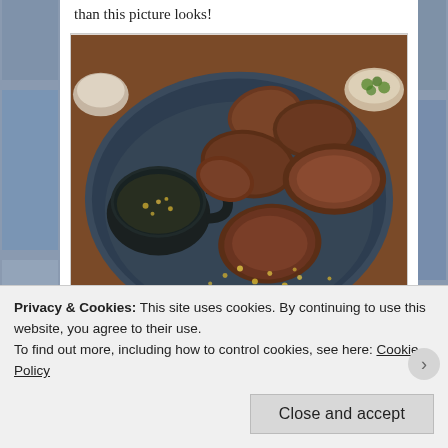This was the best picture I got, but they tasted much better than this picture looks!
[Figure (photo): A plate of fried meat pieces on a dark blue ceramic plate with a small dark ceramic cup of dipping sauce, sesame seeds scattered on the plate. Other dishes visible in background.]
Privacy & Cookies: This site uses cookies. By continuing to use this website, you agree to their use.
To find out more, including how to control cookies, see here: Cookie Policy